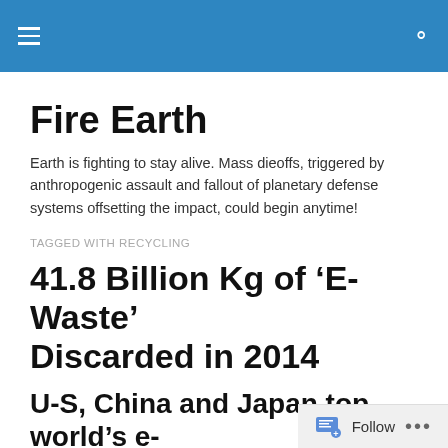Fire Earth [navigation bar]
Fire Earth
Earth is fighting to stay alive. Mass dieoffs, triggered by anthropogenic assault and fallout of planetary defense systems offsetting the impact, could begin anytime!
TAGGED WITH RECYCLING
41.8 Billion Kg of ‘E-Waste’ Discarded in 2014
U-S, China and Japan top world’s e-